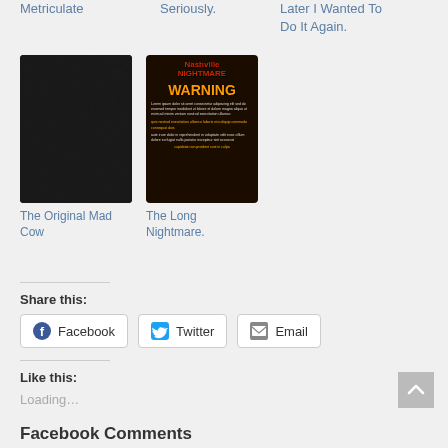Metriculate
Seriously.
Later I Wanted To Do It Again.
[Figure (photo): Dark textured surface, nearly black with subtle gray speckle pattern]
The Original Mad Cow
[Figure (photo): Nashville Nightmare haunted attraction sign with WARNING text in orange/yellow on dark background]
The Long Nightmare.
Share this:
Facebook
Twitter
Email
Like this:
Loading…
Facebook Comments